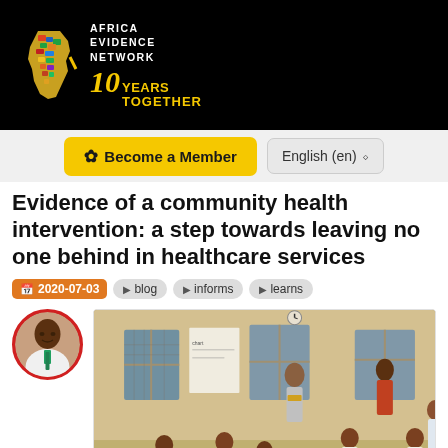[Figure (logo): Africa Evidence Network logo - colorful Africa map with text AFRICA EVIDENCE NETWORK and 10 YEARS TOGETHER on black background]
[Figure (other): Navigation bar with Become a Member yellow button and English (en) language selector]
Evidence of a community health intervention: a step towards leaving no one behind in healthcare services
2020-07-03  blog  informs  learns
[Figure (photo): Author avatar - man in white shirt with tie, circular red border]
[Figure (photo): Healthcare session photo showing women and healthcare workers in a clinic room]